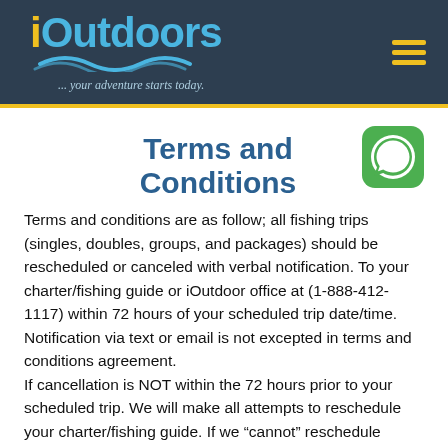iOutdoors ...your adventure starts today.
Terms and Conditions
[Figure (logo): WhatsApp icon — green rounded square with white phone handset]
Terms and conditions are as follow; all fishing trips (singles, doubles, groups, and packages) should be rescheduled or canceled with verbal notification. To your charter/fishing guide or iOutdoor office at (1-888-412-1117) within 72 hours of your scheduled trip date/time. Notification via text or email is not excepted in terms and conditions agreement.
If cancellation is NOT within the 72 hours prior to your scheduled trip. We will make all attempts to reschedule your charter/fishing guide. If we “cannot” reschedule